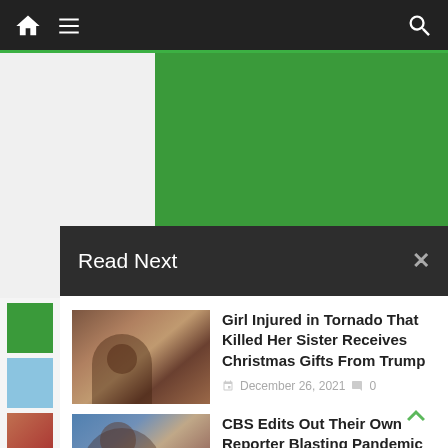Navigation bar with home, menu, and search icons
[Figure (screenshot): Green advertisement banner]
Read Next
Girl Injured in Tornado That Killed Her Sister Receives Christmas Gifts From Trump
December 26, 2021   0
CBS Edits Out Their Own Reporter Blasting Pandemic Response for Hurting Kids
December 27, 2021   0